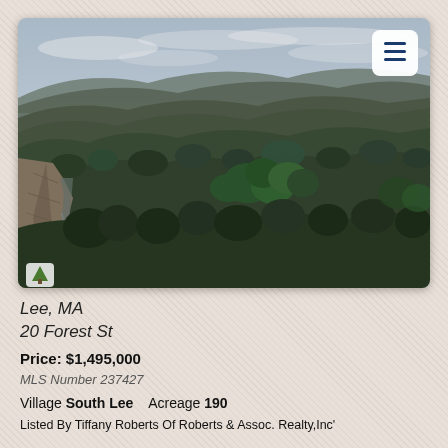[Figure (photo): Aerial drone photograph of a forested landscape in Lee, MA. Dense mixed forest of evergreen and deciduous trees fills the frame, with rolling hills and mountains in the background under a cloudy sky. A rocky cliff face and stream are visible on the left side. A small tree/property icon is in the lower-left corner of the photo.]
Lee, MA
20 Forest St
Price: $1,495,000
MLS Number 237427
Village South Lee    Acreage 190
Listed By Tiffany Roberts Of Roberts & Assoc. Realty,Inc'